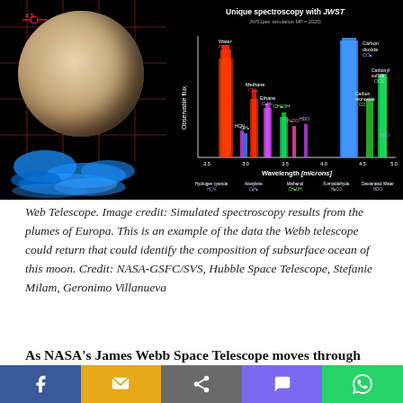[Figure (continuous-plot): Composite image showing Europa moon on the left with blue plume overlays and grid lines, and a simulated JWST spectroscopy chart on the right showing observable flux vs wavelength in microns with labeled spectral peaks for Water (H2O), Methane (CH4), Ethane (C2H6), Carbon dioxide (CO2), Carbonyl sulfide (OCS), Carbon monoxide (CO), CH3OH, HCN, C2H2, H2CO, HDO and others.]
Web Telescope. Image credit: Simulated spectroscopy results from the plumes of Europa. This is an example of the data the Webb telescope could return that could identify the composition of subsurface ocean of this moon. Credit: NASA-GSFC/SVS, Hubble Space Telescope, Stefanie Milam, Geronimo Villanueva
As NASA's James Webb Space Telescope moves through the final phases of commissioning its science